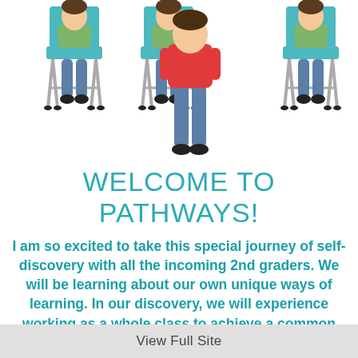[Figure (illustration): Four school chairs arranged in a row with children sitting in three of them; one child in a red shirt and jeans stands between chairs, viewed from behind/front against white background]
WELCOME TO PATHWAYS!
I am so excited to take this special journey of self-discovery with all the incoming 2nd graders. We will be learning about our own unique ways of learning. In our discovery, we will experience working as a whole class to achieve a common goal. There will be small groups that work together in Team
View Full Site